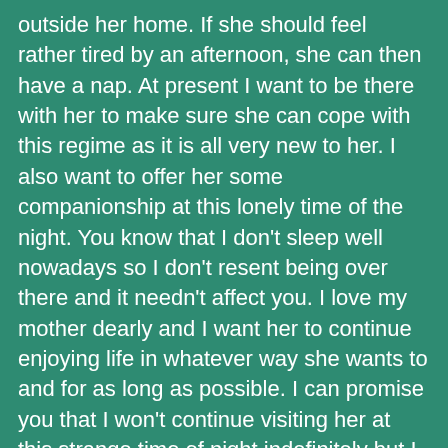outside her home. If she should feel rather tired by an afternoon, she can then have a nap. At present I want to be there with her to make sure she can cope with this regime as it is all very new to her. I also want to offer her some companionship at this lonely time of the night. You know that I don't sleep well nowadays so I don't resent being over there and it needn't affect you. I love my mother dearly and I want her to continue enjoying life in whatever way she wants to and for as long as possible. I can promise you that I won't continue visiting her at this strange time of night indefinitely but I just want to make sure that she is managing to cope with what is to her, a new lifestyle. She is such a positive person that I know that before long she herself will insist that she is quite capable of managing on her own." He was stunned by what he had just heard and felt slightly embarrassed and guilty by what he had been thinking she was up to. But instead of saying anything, he snuggled back down into bed, put his arms around her